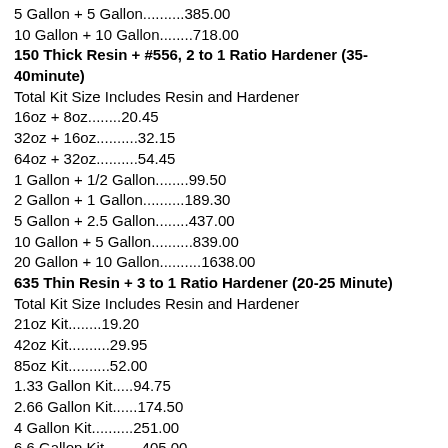5 Gallon + 5 Gallon..........385.00
10 Gallon + 10 Gallon........718.00
150 Thick Resin + #556, 2 to 1 Ratio Hardener (35-40minute)
Total Kit Size Includes Resin and Hardener
16oz + 8oz........20.45
32oz + 16oz..........32.15
64oz + 32oz..........54.45
1 Gallon + 1/2 Gallon........99.50
2 Gallon + 1 Gallon..........189.30
5 Gallon + 2.5 Gallon........437.00
10 Gallon + 5 Gallon..........839.00
20 Gallon + 10 Gallon..........1638.00
635 Thin Resin + 3 to 1 Ratio Hardener (20-25 Minute)
Total Kit Size Includes Resin and Hardener
21oz Kit........19.20
42oz Kit..........29.95
85oz Kit..........52.00
1.33 Gallon Kit.....94.75
2.66 Gallon Kit......174.50
4 Gallon Kit..........251.00
6.6 Gallon Kit.........405.00
12 Gallon Kit..........703.00
13.3 Gallon Kit.........773.00
26.6 Gallon Kit..........1504.00
635 Thin Resin + 4 to 1 Ratio Hardener (15minute)